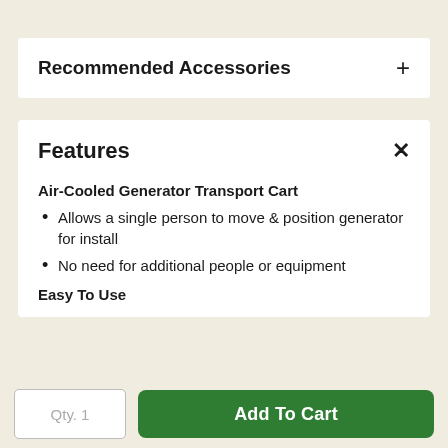Recommended Accessories
Features
Air-Cooled Generator Transport Cart
Allows a single person to move & position generator for install
No need for additional people or equipment
Easy To Use